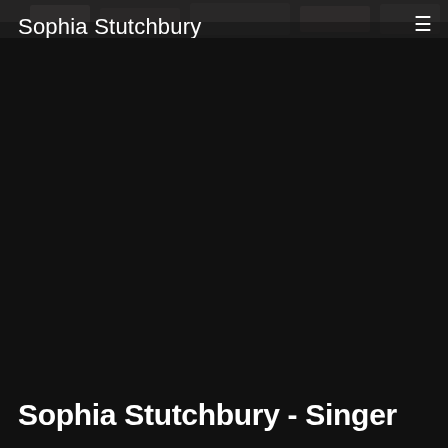[Figure (photo): Dark background photo strip at the top of the page showing a blurry crowd/performance scene]
Sophia Stutchbury
Singer – Songwriter – Topliner – Vocal Coach
Sophia Stutchbury - Singer